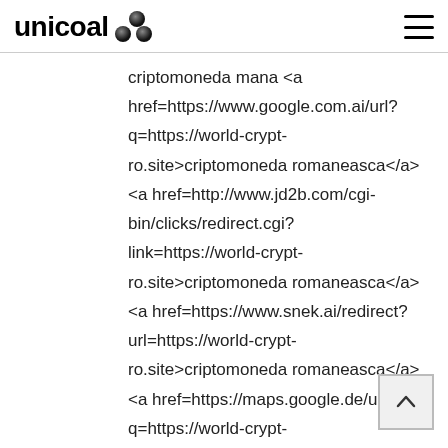unicoal
criptomoneda mana <a href=https://www.google.com.ai/url?q=https://world-crypt-ro.site>criptomoneda romaneasca</a> <a href=http://www.jd2b.com/cgi-bin/clicks/redirect.cgi?link=https://world-crypt-ro.site>criptomoneda romaneasca</a> <a href=https://www.snek.ai/redirect?url=https://world-crypt-ro.site>criptomoneda romaneasca</a> <a href=https://maps.google.de/url?q=https://world-crypt-